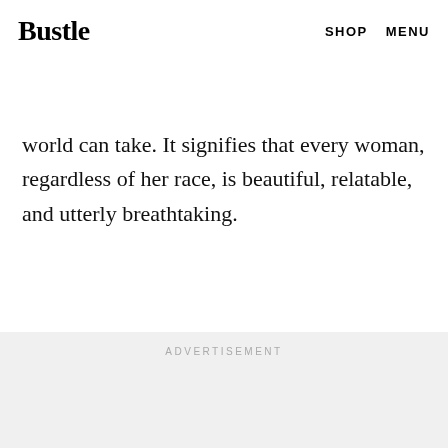Bustle   SHOP   MENU
...amongst models is probably one of the most feminist actions the fashion world can take. It signifies that every woman, regardless of her race, is beautiful, relatable, and utterly breathtaking.
ADVERTISEMENT